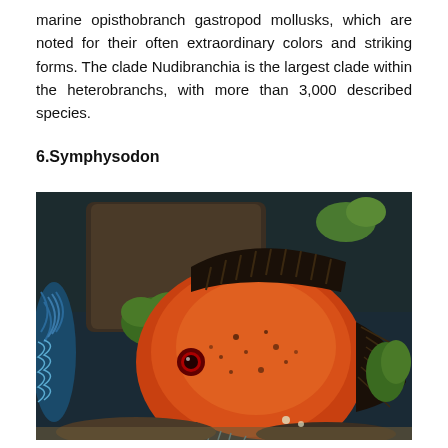marine opisthobranch gastropod mollusks, which are noted for their often extraordinary colors and striking forms. The clade Nudibranchia is the largest clade within the heterobranchs, with more than 3,000 described species.
6.Symphysodon
[Figure (photo): A large round orange-red discus fish (Symphysodon) with dark striped fins, a red eye, and blue-striped fins at bottom. Partial view of a blue discus fish on the left. Green aquatic plants and rocks in the background.]